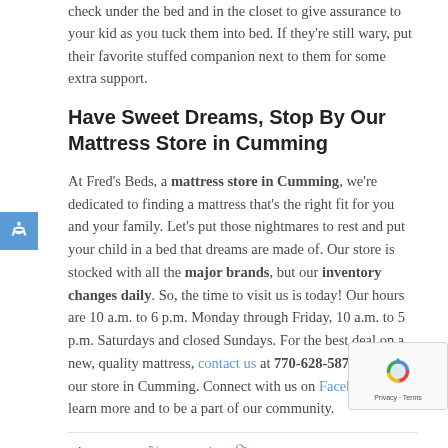check under the bed and in the closet to give assurance to your kid as you tuck them into bed. If they're still wary, put their favorite stuffed companion next to them for some extra support.
Have Sweet Dreams, Stop By Our Mattress Store in Cumming
At Fred's Beds, a mattress store in Cumming, we're dedicated to finding a mattress that's the right fit for you and your family. Let's put those nightmares to rest and put your child in a bed that dreams are made of. Our store is stocked with all the major brands, but our inventory changes daily. So, the time to visit us is today! Our hours are 10 a.m. to 6 p.m. Monday through Friday, 10 a.m. to 5 p.m. Saturdays and closed Sundays. For the best deal on a new, quality mattress, contact us at 770-628-5875 or stop by our store in Cumming. Connect with us on Facebook to learn more and to be a part of our community.
Share